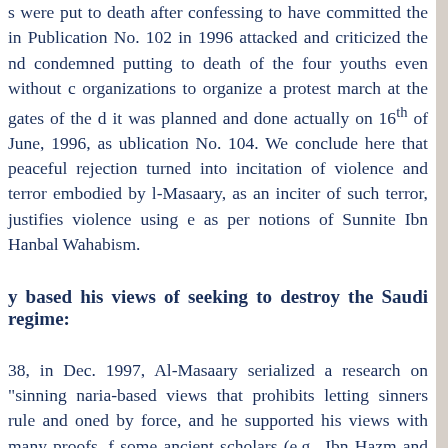s were put to death after confessing to have committed the in Publication No. 102 in 1996 attacked and criticized the nd condemned putting to death of the four youths even without c organizations to organize a protest march at the gates of the d it was planned and done actually on 16th of June, 1996, as ublication No. 104. We conclude here that peaceful rejection turned into incitation of violence and terror embodied by l-Masaary, as an inciter of such terror, justifies violence using e as per notions of Sunnite Ibn Hanbal Wahabism.
y based his views of seeking to destroy the Saudi regime:
38, in Dec. 1997, Al-Masaary serialized a research on "sinning naria-based views that prohibits letting sinners rule and oned by force, and he supported his views with many proofs, f some ancient scholars (e.g., Ibn Hazm and some Hanafi d the existence of sinning rulers, and he refutes such views troubled, hypocritical group who applied the Shiite principle of